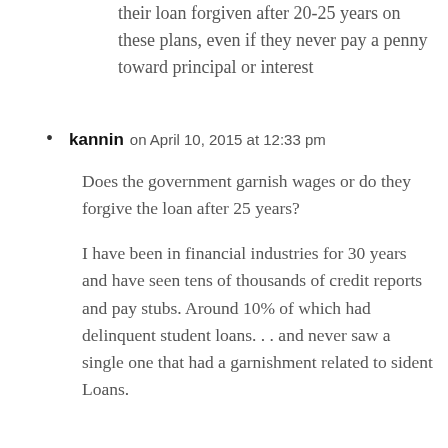their loan forgiven after 20-25 years on these plans, even if they never pay a penny toward principal or interest
kannin on April 10, 2015 at 12:33 pm

Does the government garnish wages or do they forgive the loan after 25 years?

I have been in financial industries for 30 years and have seen tens of thousands of credit reports and pay stubs. Around 10% of which had delinquent student loans... and never saw a single one that had a garnishment related to sident Loans.